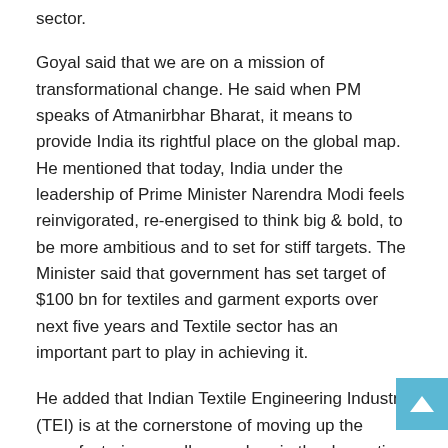sector.
Goyal said that we are on a mission of transformational change. He said when PM speaks of Atmanirbhar Bharat, it means to provide India its rightful place on the global map. He mentioned that today, India under the leadership of Prime Minister Narendra Modi feels reinvigorated, re-energised to think big & bold, to be more ambitious and to set for stiff targets. The Minister said that government has set target of $100 bn for textiles and garment exports over next five years and Textile sector has an important part to play in achieving it.
He added that Indian Textile Engineering Industry (TEI) is at the cornerstone of moving up the manufacturing excellence wherein the domestic R&D, entrepreneurial spirit and exploration of Joint Ventures have ushered in new opportunities.